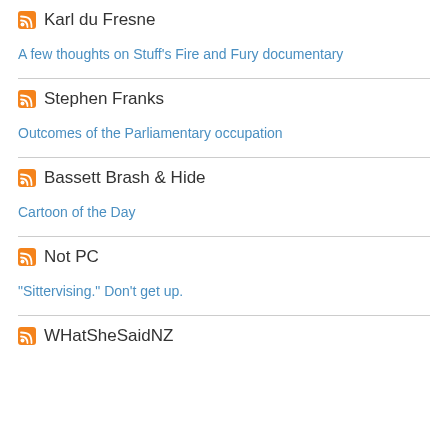Karl du Fresne
A few thoughts on Stuff's Fire and Fury documentary
Stephen Franks
Outcomes of the Parliamentary occupation
Bassett Brash & Hide
Cartoon of the Day
Not PC
"Sittervising." Don't get up.
WHatSheSaidNZ